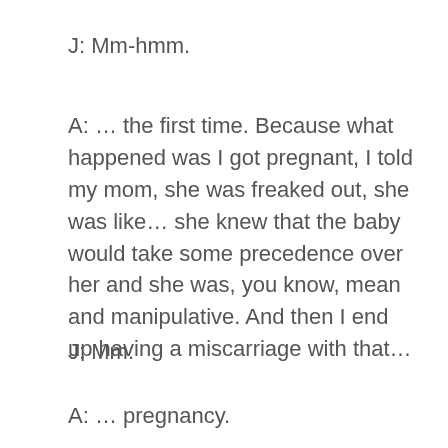J: Mm-hmm.
A: … the first time. Because what happened was I got pregnant, I told my mom, she was freaked out, she was like… she knew that the baby would take some precedence over her and she was, you know, mean and manipulative. And then I end up having a miscarriage with that…
J: Mm.
A: … pregnancy.
J: …